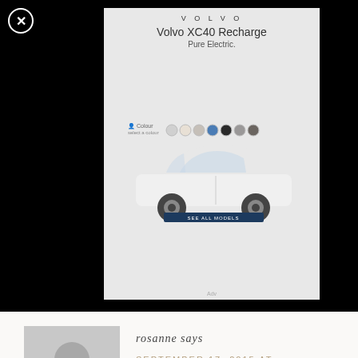[Figure (screenshot): Volvo XC40 Recharge advertisement banner on black background. Shows Volvo logo, model name 'Volvo XC40 Recharge', tagline 'Pure Electric.', color swatches, and a white SUV vehicle image.]
rosanne says
SEPTEMBER 17, 2015 AT 6:53 PM
i truly love the velvet pumpkins!! Really
[Figure (screenshot): BitLife - Life Simulator advertisement banner at bottom. Red background with app icon on left, 'Ad' label, 'BitLife - Life Simulator' title, and 'Install!' button on right.]